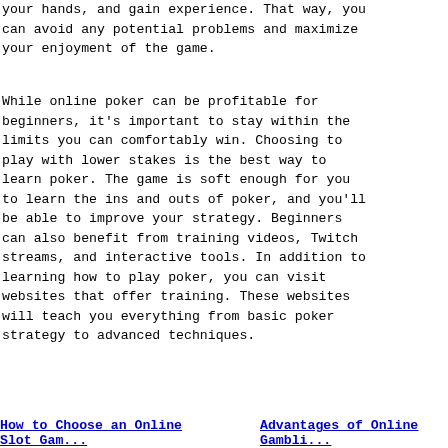your hands, and gain experience. That way, you can avoid any potential problems and maximize your enjoyment of the game.
While online poker can be profitable for beginners, it's important to stay within the limits you can comfortably win. Choosing to play with lower stakes is the best way to learn poker. The game is soft enough for you to learn the ins and outs of poker, and you'll be able to improve your strategy. Beginners can also benefit from training videos, Twitch streams, and interactive tools. In addition to learning how to play poker, you can visit websites that offer training. These websites will teach you everything from basic poker strategy to advanced techniques.
How to Choose an Online    Advantages of Online